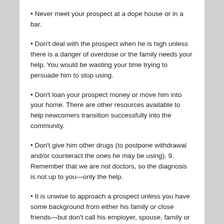Never meet your prospect at a dope house or in a bar.
Don't deal with the prospect when he is high unless there is a danger of overdose or the family needs your help. You would be wasting your time trying to persuade him to stop using.
Don't loan your prospect money or move him into your home. There are other resources available to help newcomers transition successfully into the community.
Don't give him other drugs (to postpone withdrawal and/or counteract the ones he may be using). 9. Remember that we are not doctors, so the diagnosis is not up to you—only the help.
It is unwise to approach a prospect unless you have some background from either his family or close friends—but don't call his employer, spouse, family or the police as a way of leveraging him into recovery.